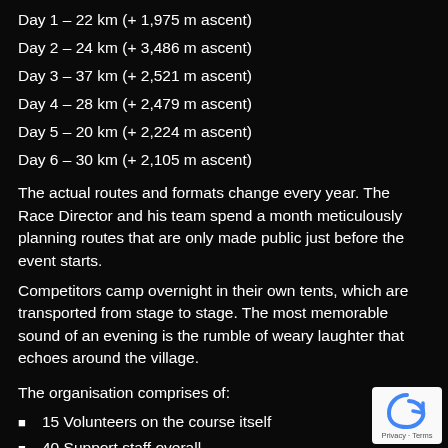Day 1 – 22 km (+ 1,975 m ascent)
Day 2 – 24 km (+ 3,486 m ascent)
Day 3 – 37 km (+ 2,521 m ascent)
Day 4 – 28 km (+ 2,479 m ascent)
Day 5 – 20 km (+ 2,224 m ascent)
Day 6 – 30 km (+ 2,105 m ascent)
The actual routes and formats change every year. The Race Director and his team spend a month meticulously planning routes that are only made public just before the event starts.
Competitors camp overnight in their own tents, which are transported from stage to stage. The most memorable sound of an evening is the rumble of weary laughter that echoes around the village.
The organisation comprises of:
15 Volunteers on the course itself
40 Support staff overall
Qualified medical team
[Figure (logo): Google reCAPTCHA badge with Privacy and Terms text]